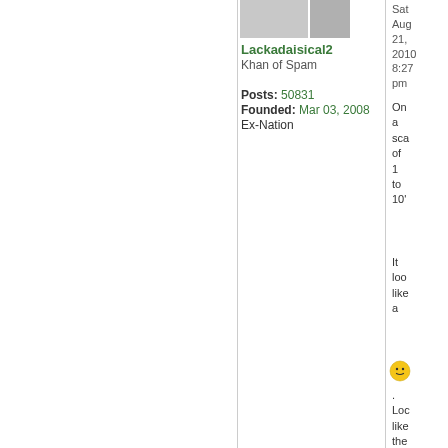[Figure (photo): User avatar image placeholder (grey gradient box)]
Lackadaisical2
Khan of Spam
Posts: 50831
Founded: Mar 03, 2008
Ex-Nation
Sat Aug 21, 2010 8:27 pm
On a sca of 1 to 10'
[Figure (illustration): Yellow neutral/confused smiley face emoji]
. Loc like the left wh ask